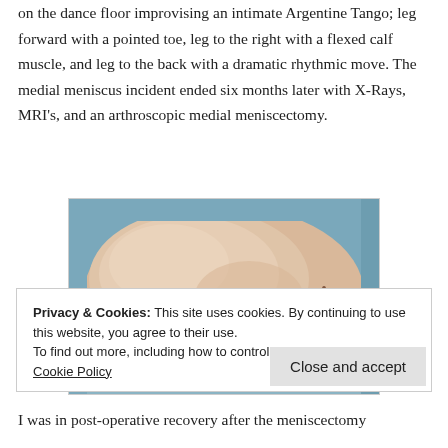on the dance floor improvising an intimate Argentine Tango; leg forward with a pointed toe, leg to the right with a flexed calf muscle, and leg to the back with a dramatic rhythmic move. The medial meniscus incident ended six months later with X-Rays, MRI's, and an arthroscopic medial meniscectomy.
[Figure (photo): Close-up photograph of a knee showing arthroscopic surgery incision marks (small puncture wounds). The skin is pale/flesh-toned with a blue surgical drape visible at the edges. Three small incision points are visible on the knee.]
Privacy & Cookies: This site uses cookies. By continuing to use this website, you agree to their use. To find out more, including how to control cookies, see here: Cookie Policy
I was in post-operative recovery after the meniscectomy